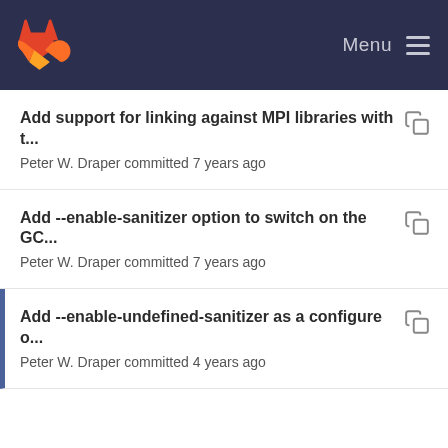GitLab Menu
Add support for linking against MPI libraries with t... Peter W. Draper committed 7 years ago
Add --enable-sanitizer option to switch on the GC... Peter W. Draper committed 7 years ago
Add --enable-undefined-sanitizer as a configure o... Peter W. Draper committed 4 years ago